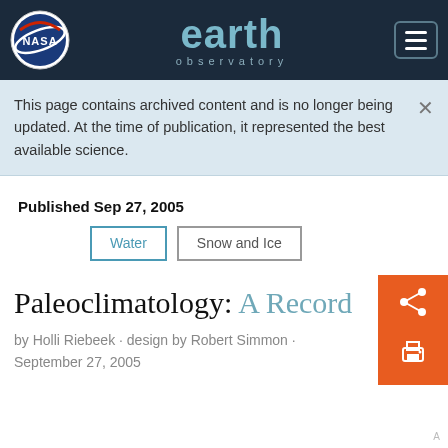NASA Earth Observatory
This page contains archived content and is no longer being updated. At the time of publication, it represented the best available science.
Published Sep 27, 2005
Water
Snow and Ice
Paleoclimatology: A Record
by Holli Riebeek · design by Robert Simmon · September 27, 2005